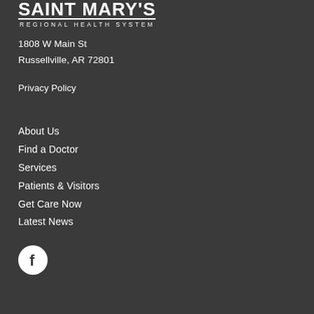[Figure (logo): Saint Mary's Regional Health System logo in white on dark background]
1808 W Main St
Russellville, AR 72801
Privacy Policy
About Us
Find a Doctor
Services
Patients & Visitors
Get Care Now
Latest News
[Figure (logo): Facebook social media icon - white F on white circle]